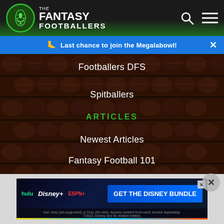The Fantasy Footballers
Last chance to join the Megalabowl!
Footballers DFS
Spitballers
ARTICLES
Newest Articles
Fantasy Football 101
Fantasy Football Strategy
DFS Articles
[Figure (screenshot): Disney Bundle advertisement banner with Hulu, Disney+, and ESPN+ logos and GET THE DISNEY BUNDLE CTA button]